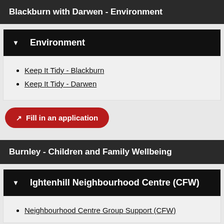Blackburn with Darwen - Environment
Environment
Keep It Tidy - Blackburn
Keep It Tidy - Darwen
Fill in an application
Burnley - Children and Family Wellbeing
Ightenhill Neighbourhood Centre (CFW)
Neighbourhood Centre Group Support (CFW)